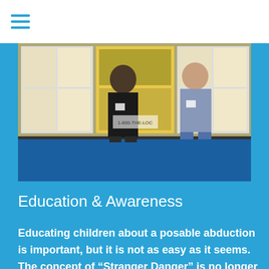[Figure (photo): Two people standing in front of a display table with educational posters and materials at what appears to be an awareness booth or conference exhibit.]
Education & Awareness
Educating children about a posable abduction is important, but it is not as easy as it seems. The concept of “Stranger Danger” is no longer relevant, to many of the people a child will come in contact with are strangers, but not a danger. Parental abduction is not something that can be